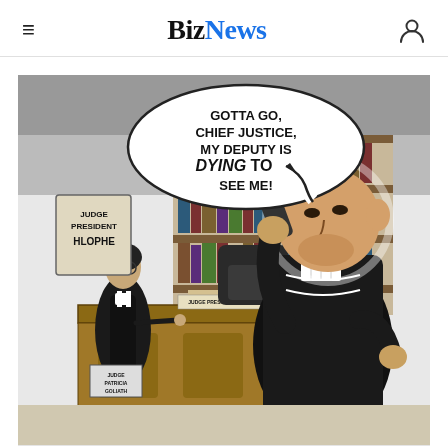BizNews
[Figure (illustration): Zapiro political cartoon showing Judge President Hlophe at a desk with a name plate reading 'JUDGE PRESIDENT HLOPHE', and Judge Patricia Goliath standing beside him holding a name badge. A large figure in judicial robes stands on the right side talking on a phone with a speech bubble reading: 'GOTTA GO, CHIEF JUSTICE, MY DEPUTY IS DYING TO SEE ME!' Signed: Zapiro, Daily Maverick 16.9.22.]